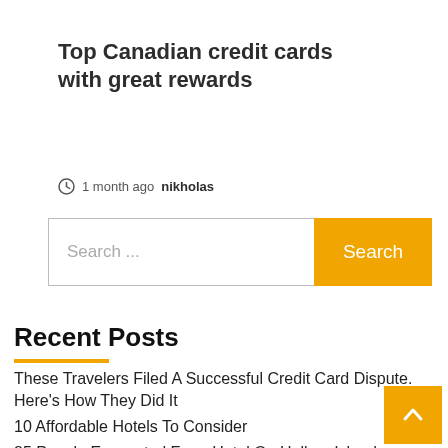Top Canadian credit cards with great rewards
1 month ago  nikholas
[Figure (other): Search bar with text input field showing 'Search ...' placeholder and an orange 'Search' button]
Recent Posts
These Travelers Filed A Successful Credit Card Dispute. Here's How They Did It
10 Affordable Hotels To Consider
85 People Evacuated From Hotel On Holbox Island After